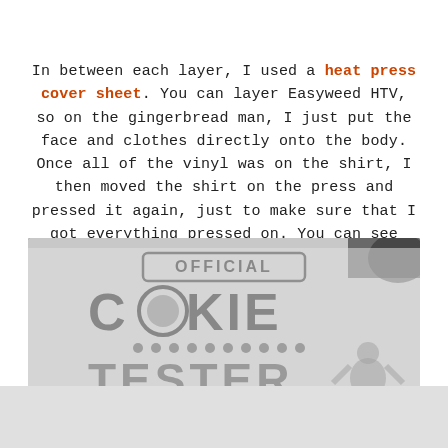In between each layer, I used a heat press cover sheet. You can layer Easyweed HTV, so on the gingerbread man, I just put the face and clothes directly onto the body. Once all of the vinyl was on the shirt, I then moved the shirt on the press and pressed it again, just to make sure that I got everything pressed on. You can see that in the video.
[Figure (photo): Photo of a white transfer sheet (heat press cover sheet) placed over a shirt showing the 'Official Cookie Tester' HTV design visible through the sheet, with text partially cut off at the bottom.]